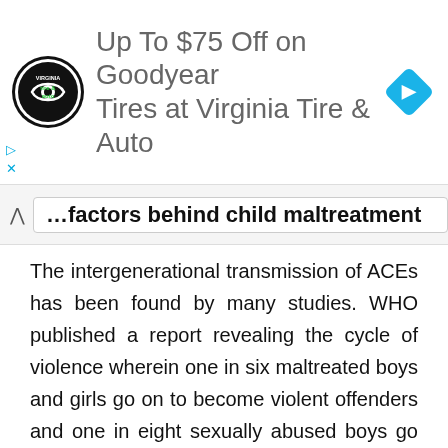[Figure (other): Advertisement banner for Virginia Tire & Auto offering up to $75 off on Goodyear Tires, featuring the Virginia Tire & Auto logo on the left and a blue diamond navigation icon on the right.]
...factors behind child maltreatment
The intergenerational transmission of ACEs has been found by many studies. WHO published a report revealing the cycle of violence wherein one in six maltreated boys and girls go on to become violent offenders and one in eight sexually abused boys go on to become sexual offenders. A 2017 study by the United States National Library of Medicine (NLM) also showed that parents who had a childhood history of being abused were more likely to